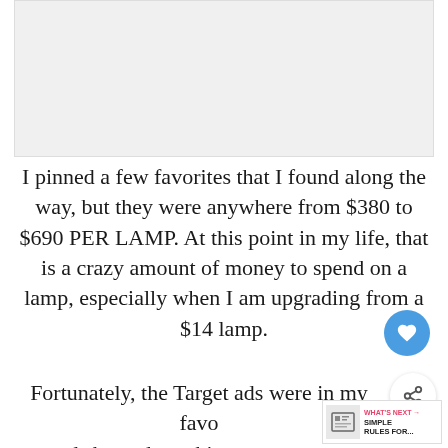[Figure (photo): Image placeholder at top of page (partially visible or white/gray area)]
I pinned a few favorites that I found along the way, but they were anywhere from $380 to $690 PER LAMP. At this point in my life, that is a crazy amount of money to spend on a lamp, especially when I am upgrading from a $14 lamp.
Fortunately, the Target ads were in my favor and showed me this gorgeous, two toned Threshold Dipped Ceramic Lamp which came in at $41 for the base. I'll